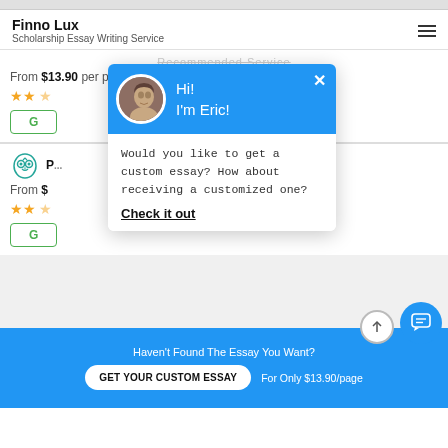Finno Lux — Scholarship Essay Writing Service
From $13.90 per page
[Figure (screenshot): Chat popup widget with profile photo of Eric, blue header reading 'Hi! I'm Eric!', body text 'Would you like to get a custom essay? How about receiving a customized one?', and bold underlined link 'Check it out']
[Figure (logo): Owl logo icon (teal/green outline owl with heart design)]
From $
Haven't Found The Essay You Want? GET YOUR CUSTOM ESSAY For Only $13.90/page